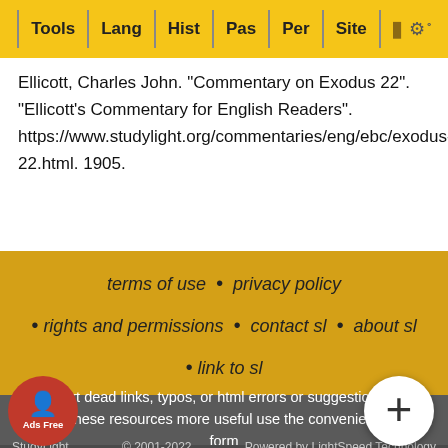Tools | Lang | Hist | Pas | Per | Site
Ellicott, Charles John. "Commentary on Exodus 22". "Ellicott's Commentary for English Readers". https://www.studylight.org/commentaries/eng/ebc/exodus-22.html. 1905.
terms of use • privacy policy • rights and permissions • contact sl • about sl • link to sl
To report dead links, typos, or html errors or suggestions about making these resources more useful use the convenient contact form
StudyLight © 2001-2022 Powered by LightSpeed Technology